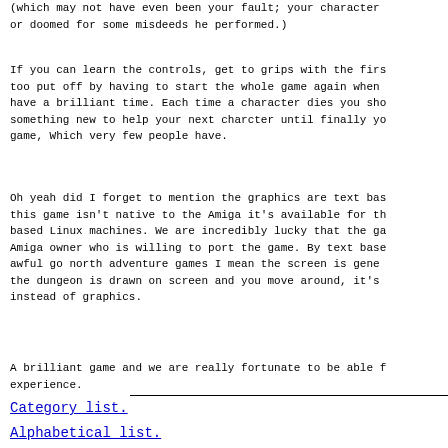(which may not have even been your fault; your character or doomed for some misdeeds he performed.)
If you can learn the controls, get to grips with the first too put off by having to start the whole game again when have a brilliant time. Each time a character dies you sho something new to help your next charcter until finally yo game, Which very few people have.
Oh yeah did I forget to mention the graphics are text bas this game isn't native to the Amiga it's available for th based Linux machines. We are incredibly lucky that the ga Amiga owner who is willing to port the game. By text base awful go north adventure games I mean the screen is gene the dungeon is drawn on screen and you move around, it's instead of graphics.
A brilliant game and we are really fortunate to be able f experience.
Category list.
Alphabetical list.